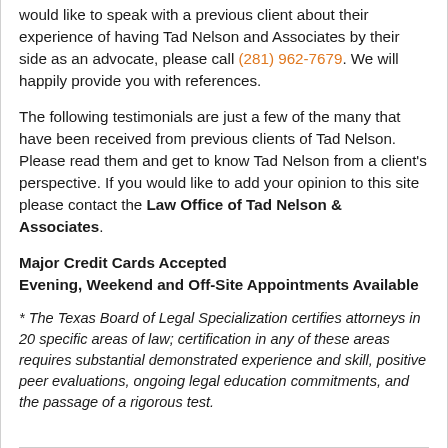would like to speak with a previous client about their experience of having Tad Nelson and Associates by their side as an advocate, please call (281) 962-7679. We will happily provide you with references.
The following testimonials are just a few of the many that have been received from previous clients of Tad Nelson. Please read them and get to know Tad Nelson from a client's perspective. If you would like to add your opinion to this site please contact the Law Office of Tad Nelson & Associates.
Major Credit Cards Accepted
Evening, Weekend and Off-Site Appointments Available
* The Texas Board of Legal Specialization certifies attorneys in 20 specific areas of law; certification in any of these areas requires substantial demonstrated experience and skill, positive peer evaluations, ongoing legal education commitments, and the passage of a rigorous test.